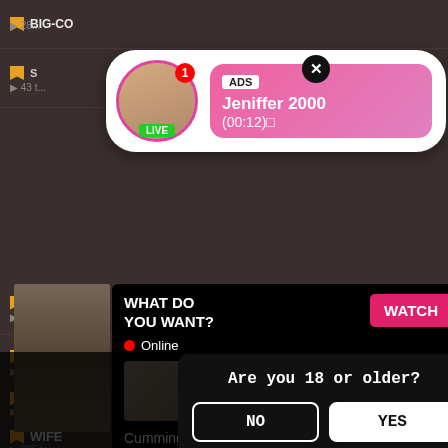[Figure (screenshot): Adult website background with category list items: BIG-COCK, items with bookmark icons, play counts, BRUNETTE 471 total, WIFE 205 to, MASSAGE]
[Figure (screenshot): Ad popup with female avatar, LIVE badge, notification badge showing 1, ADS label, name Jeniffer 2000, time (00:12), pink gradient background, close X button]
[Figure (screenshot): Mid popup showing WHAT DO YOU WANT? text, WATCH button in pink, Online indicator with red dot, three thumbnail images, text Cumming, ass fucking, squirt or..., bullet ADS label, close X]
Are you 18 or older?
NO
YES